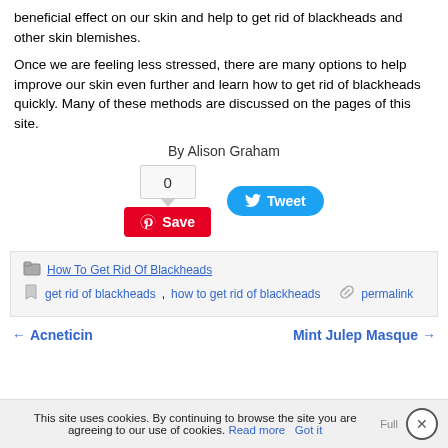beneficial effect on our skin and help to get rid of blackheads and other skin blemishes.
Once we are feeling less stressed, there are many options to help improve our skin even further and learn how to get rid of blackheads quickly. Many of these methods are discussed on the pages of this site.
By Alison Graham
[Figure (infographic): Pinterest Save button with count badge showing 0, and Twitter Tweet button]
How To Get Rid Of Blackheads
get rid of blackheads, how to get rid of blackheads   permalink
← Acneticin    Mint Julep Masque →
This site uses cookies. By continuing to browse the site you are agreeing to our use of cookies. Read more   Got it